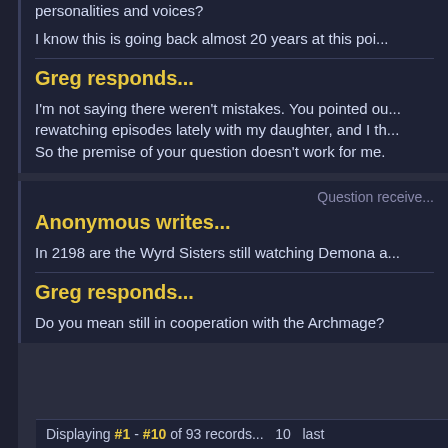personalities and voices?
I know this is going back almost 20 years at this poi...
Greg responds...
I'm not saying there weren't mistakes. You pointed ou... rewatching episodes lately with my daughter, and I th... So the premise of your question doesn't work for me.
Question receive...
Anonymous writes...
In 2198 are the Wyrd Sisters still watching Demona a...
Greg responds...
Do you mean still in cooperation with the Archmage?
Displaying #1 - #10 of 93 records... 10 last